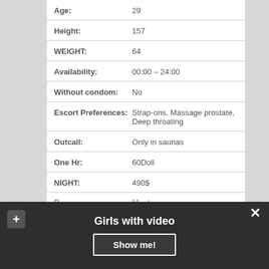| Field | Value |
| --- | --- |
| Age: | 29 |
| Height: | 157 |
| WEIGHT: | 64 |
| Availability: | 00:00 – 24:00 |
| Without condom: | No |
| Escort Preferences: | Strap-ons, Massage prostate, Deep throating |
| Outcall: | Only in saunas |
| One Hr: | 60Doll |
| NIGHT: | 490$ |
Girls with video
Show me!